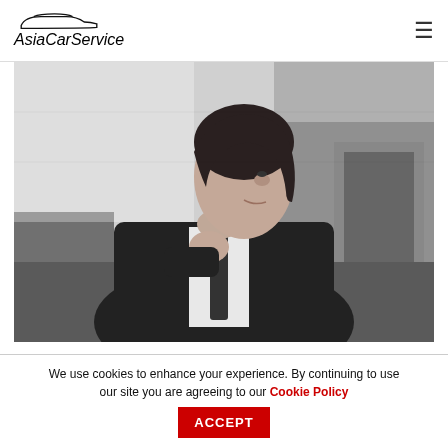[Figure (logo): AsiaCarService logo with stylized car outline above italic text]
[Figure (photo): Black and white photo of a well-dressed businessman in a suit and tie sitting in the back seat of a luxury car, looking out the window]
Enjoy Stress-Free Tokyo Arrival &
We use cookies to enhance your experience. By continuing to use our site you are agreeing to our Cookie Policy ACCEPT